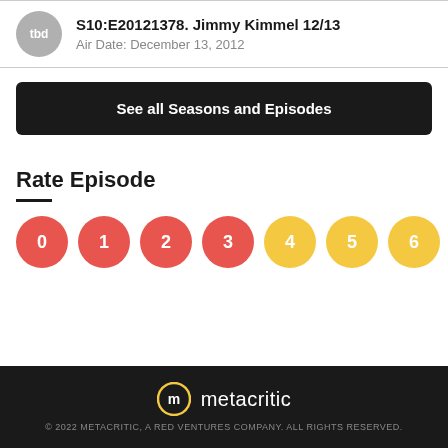S10:E20121378. Jimmy Kimmel 12/13
Air Date: December 13, 2012
See all Seasons and Episodes
Rate Episode
0 1 2 3 4 5 6
metacritic
© 2022 METACRITIC, A RED VENTURES COMPANY. ALL RIGHTS RESERVED.